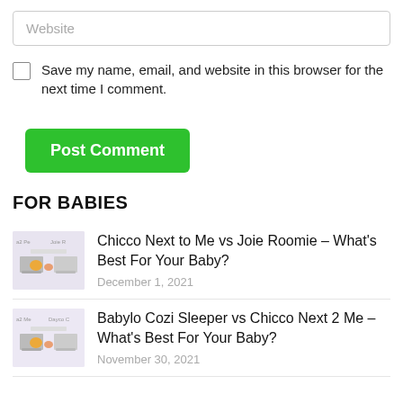Website
Save my name, email, and website in this browser for the next time I comment.
Post Comment
FOR BABIES
Chicco Next to Me vs Joie Roomie – What's Best For Your Baby?
December 1, 2021
Babylo Cozi Sleeper vs Chicco Next 2 Me – What's Best For Your Baby?
November 30, 2021